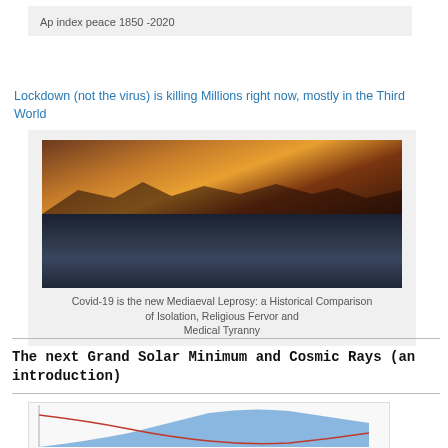Ap index peace 1850 -2020
Lockdown (not the virus) is killing Millions right now, mostly in the Third World
[Figure (photo): Composite image: top half shows silhouetted figures against fire/torchlight in an arched setting; bottom half shows a crowd scene with people in protective gear.]
Covid-19 is the new Mediaeval Leprosy: a Historical Comparison of Isolation, Religious Fervor and Medical Tyranny
The next Grand Solar Minimum and Cosmic Rays (an introduction)
[Figure (line-chart): Partial chart preview visible at bottom of page, showing a line chart with blue area and red line.]